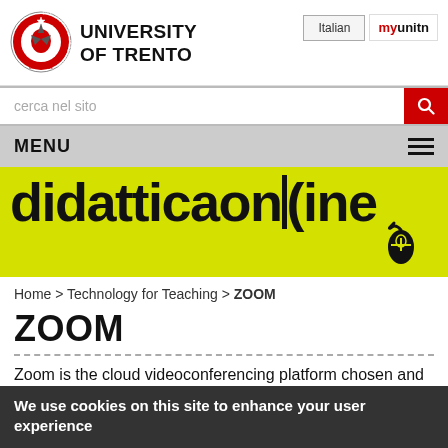[Figure (logo): University of Trento circular crest/seal with eagle and text ATHESINA STUDIORUM]
UNIVERSITY OF TRENTO
Italian
myunitn
cerca nel sito
MENU
[Figure (logo): didatticaonline logo on yellow-green background with mouse cursor icon]
Home > Technology for Teaching > ZOOM
ZOOM
Zoom is the cloud videoconferencing platform chosen and
We use cookies on this site to enhance your user experience